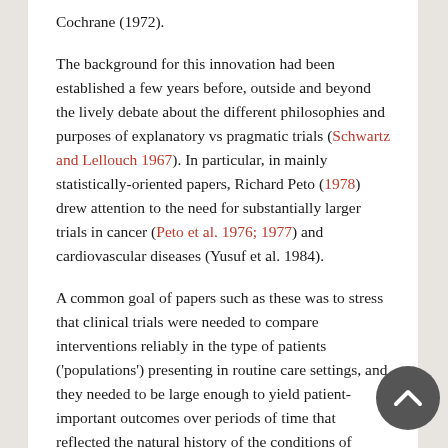Cochrane (1972).
The background for this innovation had been established a few years before, outside and beyond the lively debate about the different philosophies and purposes of explanatory vs pragmatic trials (Schwartz and Lellouch 1967). In particular, in mainly statistically-oriented papers, Richard Peto (1978) drew attention to the need for substantially larger trials in cancer (Peto et al. 1976; 1977) and cardiovascular diseases (Yusuf et al. 1984).
A common goal of papers such as these was to stress that clinical trials were needed to compare interventions reliably in the type of patients ('populations') presenting in routine care settings, and they needed to be large enough to yield patient-important outcomes over periods of time that reflected the natural history of the conditions of interest. The first GISSI trial was the first to demonstrate that this